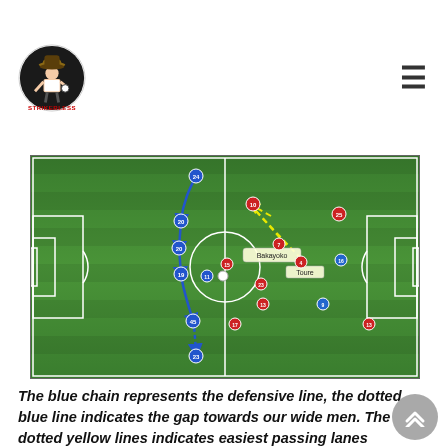STRIKERLESS logo and navigation
[Figure (infographic): Football tactical diagram on a green pitch showing player positions with numbered red and blue circles, a blue chain/arrow line representing the defensive line running vertically, a dotted blue line indicating the gap towards wide men, and dotted yellow lines showing passing lanes from a player labeled Bakayoko towards players including one labeled Toure.]
The blue chain represents the defensive line, the dotted blue line indicates the gap towards our wide men. The dotted yellow lines indicates easiest passing lanes available.